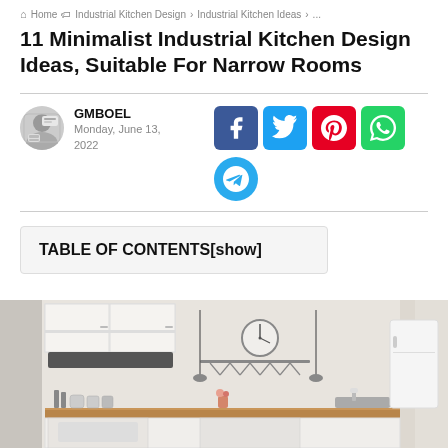Home > Industrial Kitchen Design > Industrial Kitchen Ideas > ...
11 Minimalist Industrial Kitchen Design Ideas, Suitable For Narrow Rooms
GMBOEL
Monday, June 13, 2022
[Figure (other): Social sharing icons: Facebook, Twitter, Pinterest, WhatsApp, Telegram]
TABLE OF CONTENTS[show]
[Figure (photo): Photo of a minimalist industrial kitchen interior with white cabinets, wooden countertops, wall-mounted utensil rack, clock, and sink]